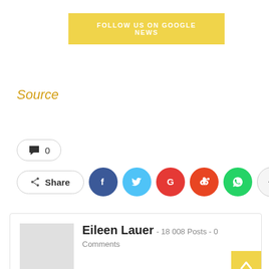FOLLOW US ON GOOGLE NEWS
Source
0
Share
[Figure (infographic): Social share icons: Facebook, Twitter, Google+, Reddit, WhatsApp, plus button]
Eileen Lauer - 18008 Posts - 0 Comments